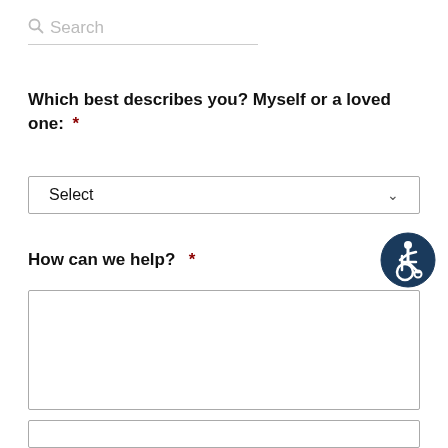Search
Which best describes you? Myself or a loved one: *
Select
How can we help? *
[Figure (illustration): Accessibility icon: dark blue circle with white wheelchair user symbol]
Name *